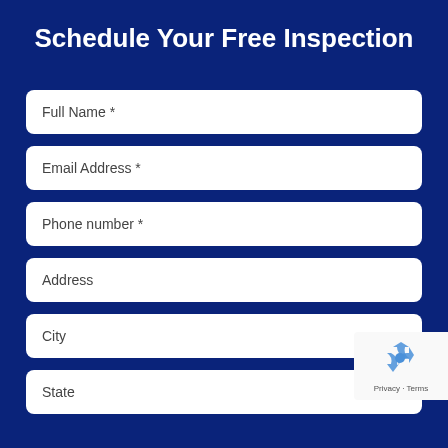Schedule Your Free Inspection
Full Name *
Email Address *
Phone number *
Address
City
State
[Figure (logo): reCAPTCHA badge with recycling arrow icon and Privacy - Terms text]